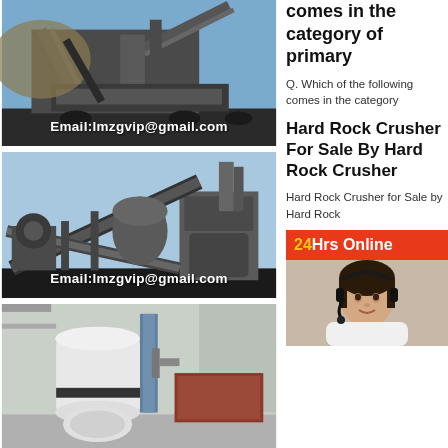[Figure (photo): Industrial crushing/screening plant with conveyor belts outdoors, with overlay text Email:lmzgvip@gmail.com]
comes in the category of primary
Q. Which of the following comes in the category
[Figure (photo): Large hard rock mining crusher/conveyor industrial plant, with overlay text Email:lmzgvip@gmail.com]
Hard Rock Crusher For Sale By Hard Rock Crusher
Hard Rock Crusher for Sale by Hard Rock
[Figure (photo): White industrial grinding mill machine indoors]
[Figure (photo): Customer service representative with headset, banner: 24Hrs Online]